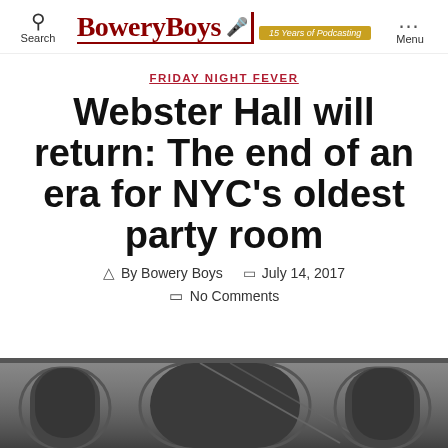Search | BoweryBoys 15 Years of Podcasting | Menu
FRIDAY NIGHT FEVER
Webster Hall will return: The end of an era for NYC's oldest party room
By Bowery Boys   July 14, 2017
No Comments
[Figure (photo): Black and white photograph of Webster Hall exterior showing arched facade and ornate architectural details]